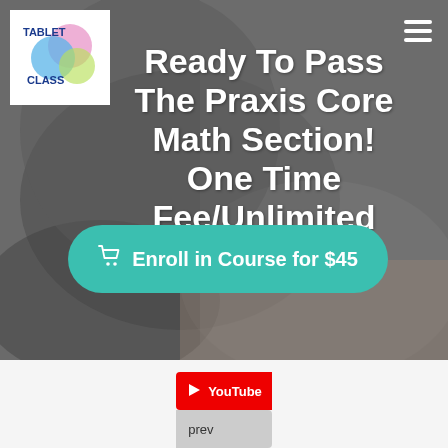[Figure (screenshot): Hero banner with a background photo of hands writing, showing a TabletClass logo in the top-left white box and a hamburger menu icon in top-right.]
Ready To Pass The Praxis Core Math Section! One Time Fee/Unlimited Access!
Enroll in Course for $45
[Figure (logo): YouTube logo badge with play button and text 'YouTube' in red, followed by grey 'preview' text badge]